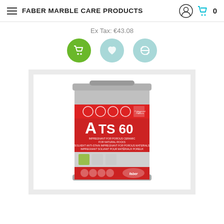FABER MARBLE CARE PRODUCTS
Ex Tax: €43.08
[Figure (screenshot): Three circular action buttons: green cart/add-to-cart button, light teal heart/wishlist button, light teal compare/refresh button]
[Figure (photo): Product image of Faber ATS 60 solvent-based impregnant for porous materials in a large metal canister with red label]